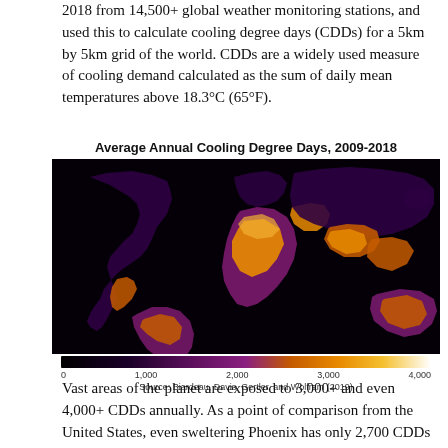2018 from 14,500+ global weather monitoring stations, and used this to calculate cooling degree days (CDDs) for a 5km by 5km grid of the world. CDDs are a widely used measure of cooling demand calculated as the sum of daily mean temperatures above 18.3°C (65°F).
[Figure (map): World map showing average annual cooling degree days (CDDs) from 2009-2018. Color scale from black (0) through purple, orange, to white/yellow (4,000+). Hottest regions include sub-Saharan Africa, South/Southeast Asia, Middle East, and northern South America.]
Vast areas of the planet are exposed to 3,000+ and even 4,000+ CDDs annually. As a point of comparison from the United States, even sweltering Phoenix has only 2,700 CDDs